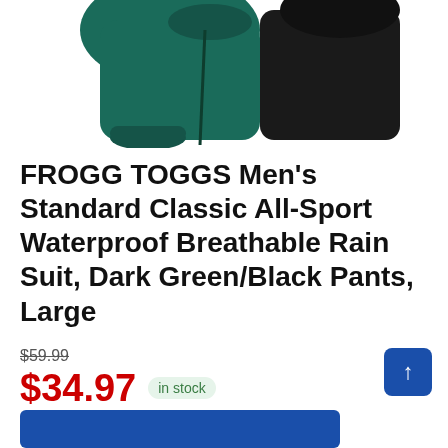[Figure (photo): Product photo of FROGG TOGGS rain suit jacket in dark green and black, shown from torso up, partially cropped at top of page]
FROGG TOGGS Men's Standard Classic All-Sport Waterproof Breathable Rain Suit, Dark Green/Black Pants, Large
$59.99 (strikethrough original price)
$34.97 in stock
9 new from $25.66
4 used from $29.51
Free shipping